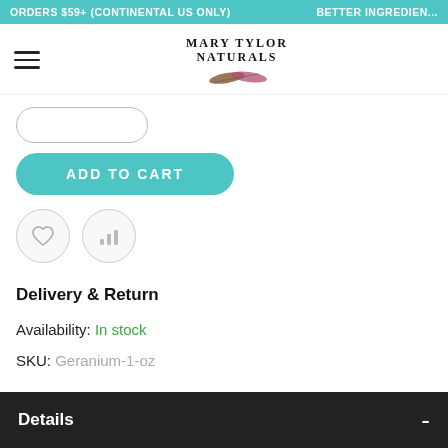ORDERS $59+ (CONTINENTAL US ONLY)   BETTER INGREDIEN...
[Figure (logo): Mary Tylor Naturals logo with feather illustration]
[Figure (other): Quantity selector oval outline box]
ADD TO CART
[Figure (other): Heart icon wishlist button and bar chart compare button]
Delivery & Return
Availability: In stock
SKU: Geranium-1-oz
Details